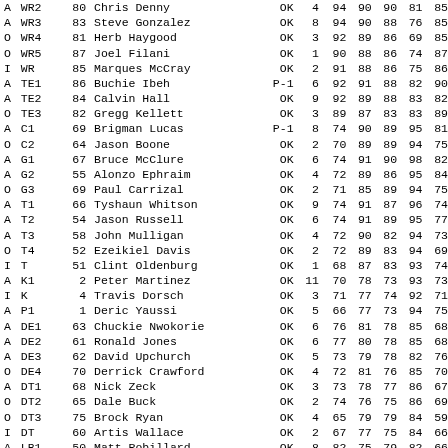|  | Pos | # | Name | Stat | Val | A | B | C | D | E |
| --- | --- | --- | --- | --- | --- | --- | --- | --- | --- | --- |
| A | WR2 | 80 | Chris Denny | OK | 4 | 94 | 90 | 90 | 81 | 85 |
| A | WR3 | 83 | Steve Gonzalez | OK | 8 | 94 | 90 | 88 | 76 | 85 |
| O | WR4 | 81 | Herb Haygood | OK | 3 | 92 | 89 | 86 | 69 | 85 |
| O | WR5 | 87 | Joel Filani | OK | 1 | 90 | 88 | 86 | 74 | 87 |
| I | WR | 85 | Marques McCray | OK | 2 | 91 | 88 | 86 | 75 | 86 |
| A | TE1 | 86 | Buchie Ibeh | P-1 | 6 | 92 | 91 | 88 | 82 | 90 |
| A | TE2 | 84 | Calvin Hall | OK | 9 | 92 | 89 | 88 | 83 | 82 |
| O | TE3 | 82 | Gregg Kellett | OK | 3 | 89 | 87 | 83 | 83 | 89 |
| A | C1 | 69 | Brigman Lucas | P-1 | 8 | 74 | 90 | 89 | 95 | 81 |
| O | C2 | 64 | Jason Boone | OK | 2 | 70 | 89 | 89 | 94 | 75 |
| A | G1 | 67 | Bruce McClure | OK | 6 | 74 | 91 | 90 | 98 | 82 |
| A | G2 | 55 | Alonzo Ephraim | OK | 4 | 72 | 89 | 86 | 95 | 84 |
| O | G3 | 69 | Paul Carrizal | OK | 2 | 71 | 85 | 89 | 94 | 75 |
| A | T1 | 66 | Tyshaun Whitson | OK | 9 | 74 | 91 | 87 | 96 | 74 |
| A | T2 | 54 | Jason Russell | OK | 6 | 74 | 91 | 89 | 95 | 77 |
| A | T3 | 58 | John Mulligan | OK | 4 | 72 | 90 | 82 | 94 | 73 |
| O | T4 | 52 | Ezeikiel Davis | OK | 2 | 72 | 89 | 83 | 94 | 69 |
| I | T | 51 | Clint Oldenburg | OK | 1 | 68 | 87 | 83 | 93 | 74 |
| A | K1 | 2 | Peter Martinez | OK | 11 | 70 | 78 | 73 | 93 | 73 |
| I | K | 4 | Travis Dorsch | OK | 3 | 71 | 77 | 74 | 92 | 71 |
| A | P1 | 1 | Deric Yaussi | OK | 5 | 66 | 77 | 73 | 94 | 75 |
| A | DE1 | 63 | Chuckie Nwokorie | OK | 6 | 76 | 81 | 78 | 85 | 68 |
| A | DE2 | 61 | Ronald Jones | OK | 6 | 77 | 80 | 78 | 85 | 68 |
| A | DE3 | 62 | David Upchurch | OK | 5 | 73 | 79 | 78 | 82 | 76 |
| O | DE4 | 70 | Derrick Crawford | OK | 4 | 72 | 81 | 76 | 85 | 70 |
| A | DT1 | 68 | Nick Zeck | OK | 3 | 73 | 78 | 77 | 86 | 67 |
| O | DT2 | 65 | Dale Buck | OK | 2 | 74 | 76 | 75 | 86 | 69 |
| O | DT3 | 75 | Brock Ryan | OK | 4 | 65 | 79 | 79 | 84 | 59 |
| I | DT | 60 | Artis Wallace | OK | 2 | 67 | 77 | 75 | 84 | 66 |
| A | LB1 | 50 | Matt Robillard | OK | 8 | 82 | 75 | 79 | 82 | 66 |